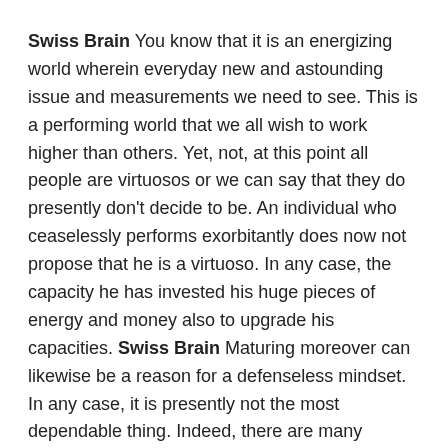Swiss Brain You know that it is an energizing world wherein everyday new and astounding issue and measurements we need to see. This is a performing world that we all wish to work higher than others. Yet, not, at this point all people are virtuosos or we can say that they do presently don't decide to be. An individual who ceaselessly performs exorbitantly does now not propose that he is a virtuoso. In any case, the capacity he has invested his huge pieces of energy and money also to upgrade his capacities. Swiss Brain Maturing moreover can likewise be a reason for a defenseless mindset. In any case, it is presently not the most dependable thing. Indeed, there are many enhancements and changes utilized by individuals to restrict such issues. However, a large portion of these is phony and incapable. Such is homegrown and scholarly issues that can be diminished